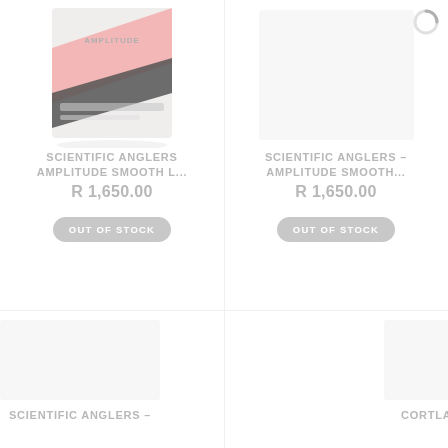[Figure (photo): Scientific Anglers Amplitude Smooth fishing line product image showing packaged line spools in pink and grey packaging]
SCIENTIFIC ANGLERS AMPLITUDE SMOOTH L...
R 1,650.00
OUT OF STOCK
[Figure (photo): Scientific Anglers Amplitude Smooth fishing line product image (loading spinner visible, image loading)]
SCIENTIFIC ANGLERS – AMPLITUDE SMOOTH...
R 1,650.00
OUT OF STOCK
SCIENTIFIC ANGLERS –
CORTLAND GT/TUNA